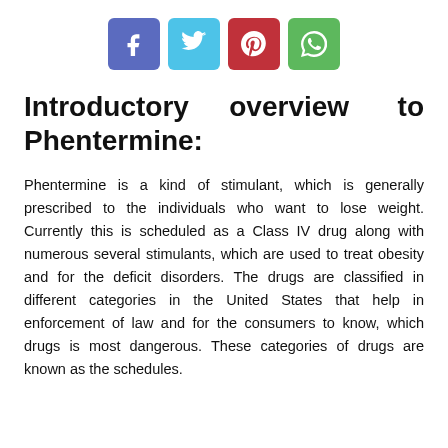[Figure (other): Social media share buttons: Facebook (purple-blue), Twitter (light blue), Pinterest (red), WhatsApp (green)]
Introductory overview to Phentermine:
Phentermine is a kind of stimulant, which is generally prescribed to the individuals who want to lose weight. Currently this is scheduled as a Class IV drug along with numerous several stimulants, which are used to treat obesity and for the deficit disorders. The drugs are classified in different categories in the United States that help in enforcement of law and for the consumers to know, which drugs is most dangerous. These categories of drugs are known as the schedules.